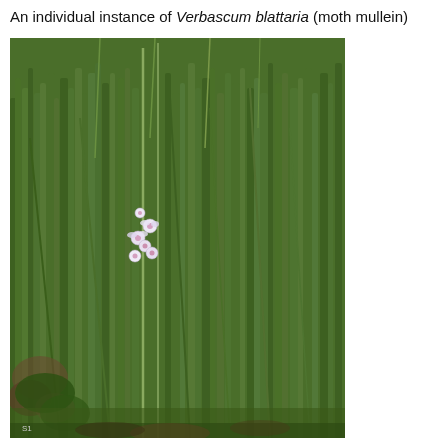An individual instance of Verbascum blattaria (moth mullein)
[Figure (photo): A photograph of a single Verbascum blattaria (moth mullein) plant growing tall among dense green grass in a field. The plant has small white/pale purple flowers visible near the center of the image.]